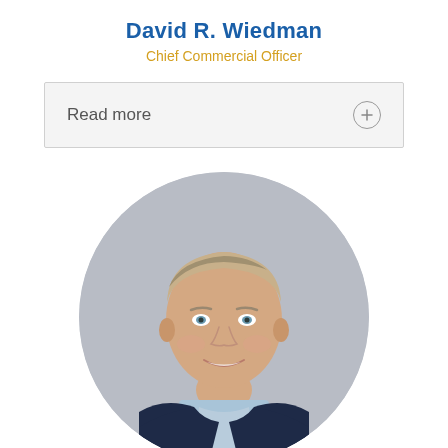David R. Wiedman
Chief Commercial Officer
Read more
[Figure (photo): Circular headshot of David R. Wiedman, a middle-aged man with gray-blonde hair, wearing a dark navy blazer and light blue shirt, smiling, photographed against a light gray background.]